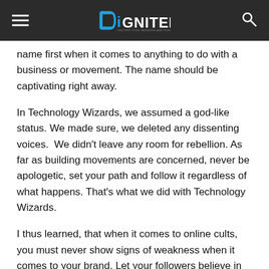DiGNITED
name first when it comes to anything to do with a business or movement. The name should be captivating right away.
In Technology Wizards, we assumed a god-like status. We made sure, we deleted any dissenting voices.  We didn't leave any room for rebellion. As far as building movements are concerned, never be apologetic, set your path and follow it regardless of what happens. That's what we did with Technology Wizards.
I thus learned, that when it comes to online cults, you must never show signs of weakness when it comes to your brand. Let your followers believe in your perfection, be a demi-god of sorts to them. You must set rules